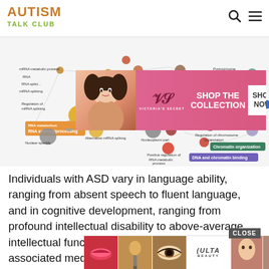AUTISM TALK CLUB
[Figure (network-graph): Network diagram showing RNA metabolic process, mRNA metabolic process, RNA splicing, mRNA splicing, Regulation of mRNA splicing, RNA splicing/processing, Alternative mRNA splicing, Nucleoplasm part, Nuclear speckle, RNA catabolic process, Negative regulation, Pyrimid-lysine, DNA and chromatin binding, DNA binding, Positive regulation of gene expression, Regulation of mRNA processing, Positive regulation of RNA metabolic process, Chromosome organization, Regulation of chromosome organization, Chromatin organization, Covalent chromatin modification, connected by lines with colored nodes]
[Figure (photo): Victoria's Secret advertisement with woman model and SHOP THE COLLECTION button]
Individuals with ASD vary in language ability, ranging from absent speech to fluent language, and in cognitive development, ranging from profound intellectual disability to above-average intellectual functioning. Individuals may also show associated medical comorbidities in epilep... psychi...
[Figure (photo): Ulta Beauty advertisement with close-up beauty photos and SHOP NOW button]